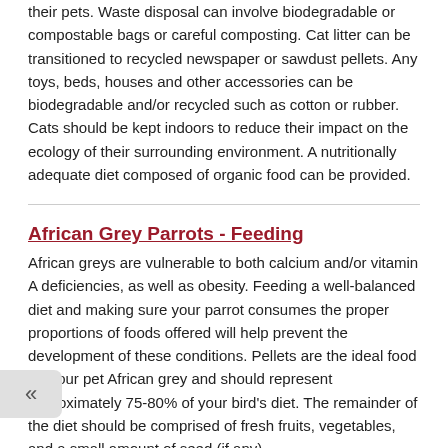their pets. Waste disposal can involve biodegradable or compostable bags or careful composting. Cat litter can be transitioned to recycled newspaper or sawdust pellets. Any toys, beds, houses and other accessories can be biodegradable and/or recycled such as cotton or rubber. Cats should be kept indoors to reduce their impact on the ecology of their surrounding environment. A nutritionally adequate diet composed of organic food can be provided.
African Grey Parrots - Feeding
African greys are vulnerable to both calcium and/or vitamin A deficiencies, as well as obesity. Feeding a well-balanced diet and making sure your parrot consumes the proper proportions of foods offered will help prevent the development of these conditions. Pellets are the ideal food for your pet African grey and should represent approximately 75-80% of your bird's diet. The remainder of the diet should be comprised of fresh fruits, vegetables, and a small amount of seed (if any).
Amazon Parrots - Feeding
Our knowledge of bird nutrition is constantly evolving. This is due both to heightened awareness of the importance of nutrition and to increased research into birds different needs. As with all other animals, birds need a proper balance of carbohydrates, proteins, fat, vitamins, minerals and